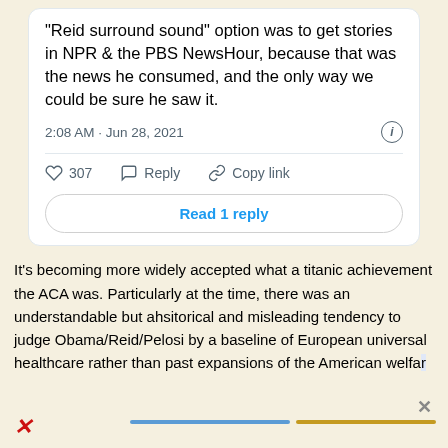[Figure (screenshot): Tweet screenshot showing text about 'Reid surround sound' option to get stories in NPR & the PBS NewsHour, with timestamp 2:08 AM · Jun 28, 2021, engagement counts (307 likes), Reply and Copy link actions, and a 'Read 1 reply' button.]
It's becoming more widely accepted what a titanic achievement the ACA was. Particularly at the time, there was an understandable but ahsitorical and misleading tendency to judge Obama/Reid/Pelosi by a baseline of European universal healthcare rather than past expansions of the American welfa…